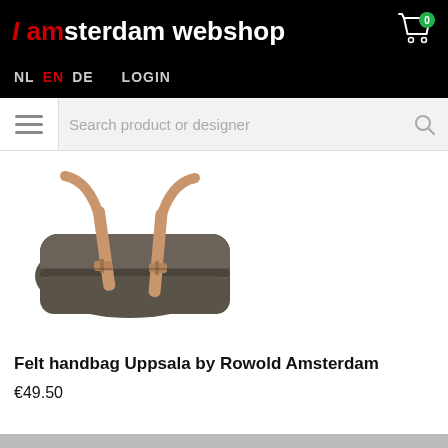I amsterdam webshop
NL EN DE LOGIN
Search product or designer
[Figure (photo): A dark grey felt handbag (Uppsala by Rowold Amsterdam) with a tan leather strap and buckle closure, photographed on white background.]
Felt handbag Uppsala by Rowold Amsterdam
€49.50